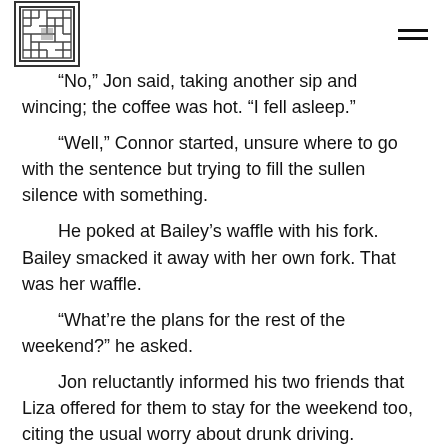[Logo] [Hamburger menu]
“No,” Jon said, taking another sip and wincing; the coffee was hot. “I fell asleep.”
“Well,” Connor started, unsure where to go with the sentence but trying to fill the sullen silence with something.
He poked at Bailey’s waffle with his fork. Bailey smacked it away with her own fork. That was her waffle.
“What’re the plans for the rest of the weekend?” he asked.
Jon reluctantly informed his two friends that Liza offered for them to stay for the weekend too, citing the usual worry about drunk driving.
“Homegurl really doesn’t get Uber,” Bailey said,